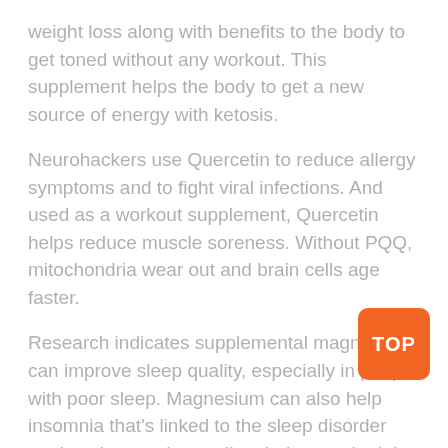weight loss along with benefits to the body to get toned without any workout. This supplement helps the body to get a new source of energy with ketosis.
Neurohackers use Quercetin to reduce allergy symptoms and to fight viral infections. And used as a workout supplement, Quercetin helps reduce muscle soreness. Without PQQ, mitochondria wear out and brain cells age faster.
Research indicates supplemental magnesium can improve sleep quality, especially in people with poor sleep. Magnesium can also help insomnia that’s linked to the sleep disorder restless-leg syndrome. I’m glad you asked, I talk often with my patients about the importance of magnesium, and it’s critical sometimes under-recognized–role in sleep and overall health.
If you are into weight training, dont forget to check